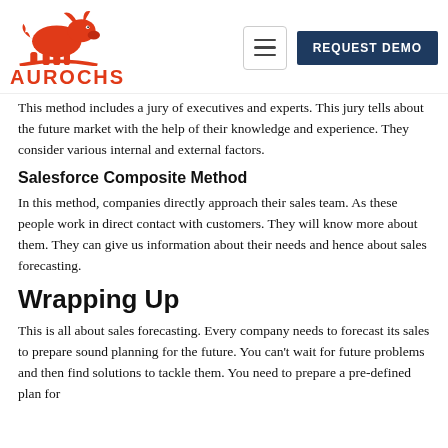AUROCHS | REQUEST DEMO
This method includes a jury of executives and experts. This jury tells about the future market with the help of their knowledge and experience. They consider various internal and external factors.
Salesforce Composite Method
In this method, companies directly approach their sales team. As these people work in direct contact with customers. They will know more about them. They can give us information about their needs and hence about sales forecasting.
Wrapping Up
This is all about sales forecasting. Every company needs to forecast its sales to prepare sound planning for the future. You can't wait for future problems and then find solutions to tackle them. You need to prepare a pre-defined plan for